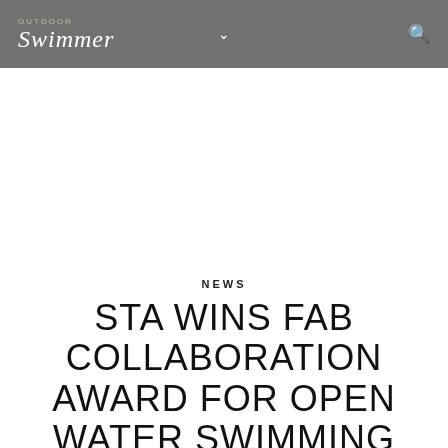OUTDOOR Swimmer
NEWS
STA WINS FAB COLLABORATION AWARD FOR OPEN WATER SWIMMING COACHING